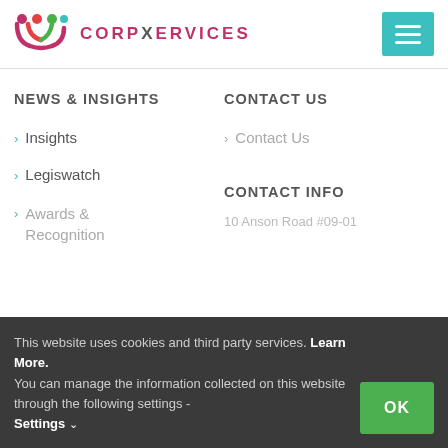CORPXERVICES
NEWS & INSIGHTS
CONTACT US
> Insights
> Contact Us
> Legiswatch
> Awards & Recognition
CONTACT INFO
10 Anson Road #09-01
This website uses cookies and third party services. Learn More. You can manage the information collected on this website through the following settings - Settings